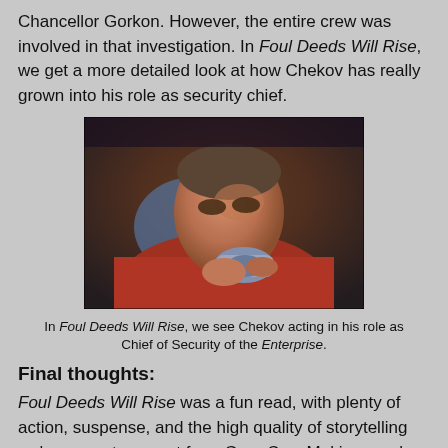Chancellor Gorkon. However, the entire crew was involved in that investigation. In Foul Deeds Will Rise, we get a more detailed look at how Chekov has really grown into his role as security chief.
[Figure (photo): A man in a red Star Trek uniform holding a communicator device close to his face, looking down intently. Blue and dark background behind him.]
In Foul Deeds Will Rise, we see Chekov acting in his role as Chief of Security of the Enterprise.
Final thoughts:
Foul Deeds Will Rise was a fun read, with plenty of action, suspense, and the high quality of storytelling we've come to expect from Greg Cox. Making ample use of the back